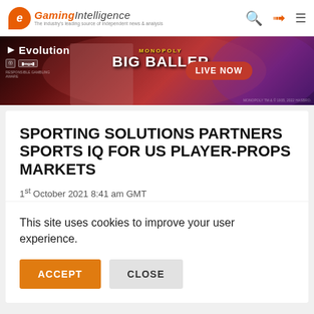Gaming Intelligence — The industry's leading source of independent news & analysis
[Figure (photo): Evolution Gaming advertisement banner featuring Monopoly Big Baller with a live dealer and 'LIVE NOW' button]
SPORTING SOLUTIONS PARTNERS SPORTS IQ FOR US PLAYER-PROPS MARKETS
1st October 2021 8:41 am GMT
This site uses cookies to improve your user experience.
ACCEPT   CLOSE